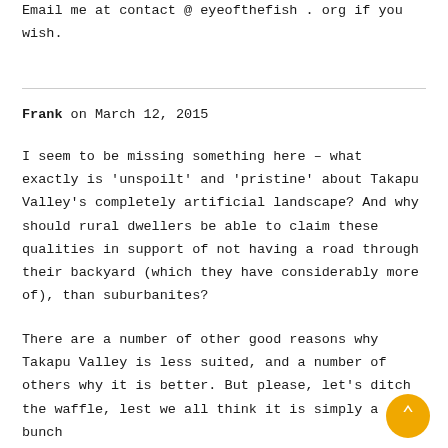Email me at contact @ eyeofthefish . org if you wish.
Frank on March 12, 2015
I seem to be missing something here – what exactly is 'unspoilt' and 'pristine' about Takapu Valley's completely artificial landscape? And why should rural dwellers be able to claim these qualities in support of not having a road through their backyard (which they have considerably more of), than suburbanites?
There are a number of other good reasons why Takapu Valley is less suited, and a number of others why it is better. But please, let's ditch the waffle, lest we all think it is simply a bunch